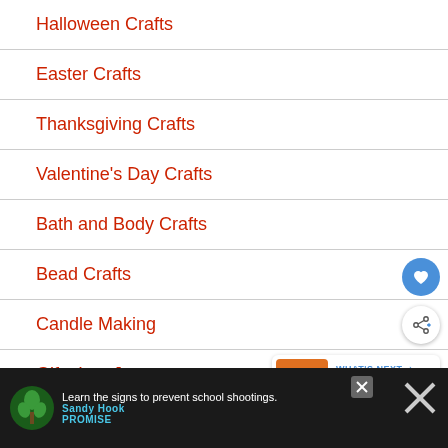Halloween Crafts
Easter Crafts
Thanksgiving Crafts
Valentine's Day Crafts
Bath and Body Crafts
Bead Crafts
Candle Making
Gifts In a Jar
Group Crafts
[Figure (infographic): Heart/favorite button (blue circle with white heart icon)]
[Figure (infographic): Share button (white circle with share icon)]
[Figure (infographic): What's Next card showing Sunflower Pumpkin Do... with pumpkin image]
Learn the signs to prevent school shootings. Sandy Hook Promise